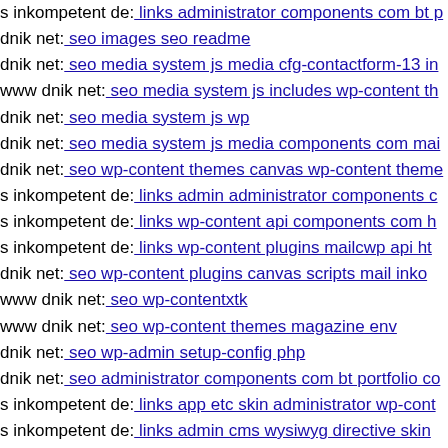s inkompetent de: links administrator components com bt p...
dnik net: seo images seo readme
dnik net: seo media system js media cfg-contactform-13 in...
www dnik net: seo media system js includes wp-content th...
dnik net: seo media system js wp
dnik net: seo media system js media components com mai...
dnik net: seo wp-content themes canvas wp-content theme...
s inkompetent de: links admin administrator components c...
s inkompetent de: links wp-content api components com h...
s inkompetent de: links wp-content plugins mailcwp api ht...
dnik net: seo wp-content plugins canvas scripts mail inko...
www dnik net: seo wp-contentxtk
www dnik net: seo wp-content themes magazine env
dnik net: seo wp-admin setup-config php
dnik net: seo administrator components com bt portfolio co...
s inkompetent de: links app etc skin administrator wp-cont...
s inkompetent de: links admin cms wysiwyg directive skin...
s inkompetent de: links phpthumb phpthumb plog-includes...
s inkompetent de: links wp-content skin skin components c...
s inkompetent de: links app etc skin jwallpapers files pluph...